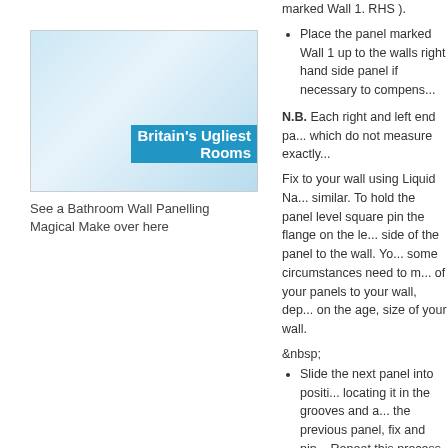[Figure (photo): Britain's Ugliest Rooms TV show logo on a blue/light background]
See a Bathroom Wall Panelling Magical Make over here
marked Wall 1. RHS ).
Place the panel marked Wall 1 up to the walls right hand side panel if necessary to compens...
N.B. Each right and left end pa... which do not measure exactly...
Fix to your wall using Liquid Na... similar. To hold the panel level square pin the flange on the le... side of the panel to the wall. Yo... some circumstances need to m... of your panels to your wall, dep... on the age, size of your wall.
&nbsp;
Slide the next panel into positi... locating it in the grooves and a... the previous panel, fix and pin... Repeat this process until you g... LHS of the wall.( again modifyi... 1. LHS panel ).
Diagram below shows four pan...